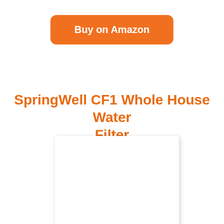[Figure (other): Orange rounded rectangle button with white bold text 'Buy on Amazon']
SpringWell CF1 Whole House Water Filter
[Figure (photo): White blank product image placeholder with drop shadow]